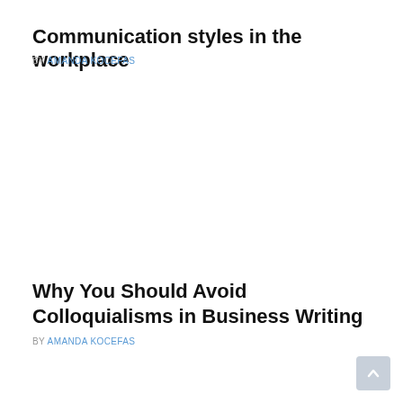Communication styles in the workplace
BY AMANDA KOCEFAS
Why You Should Avoid Colloquialisms in Business Writing
BY AMANDA KOCEFAS